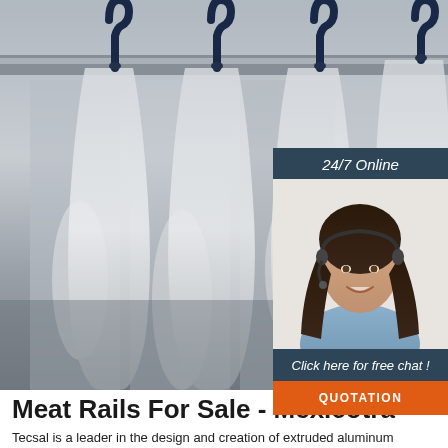[Figure (photo): Overhead meat rail hooks made of dark metal/plastic against a stainless steel background, photographed from below looking up]
[Figure (photo): 24/7 Online chat agent: a smiling woman with dark hair wearing a headset and light blue shirt, with text 'Click here for free chat!' and an orange QUOTATION button]
Meat Rails For Sale - Mexicotra
Tecsal is a leader in the design and creation of extruded aluminum overhead rail systems 'Monotech' and stainless-steel overhead rail systems. Take contact for further informations. com Duratrack, Inc. Remember we offer next day delivery. Different types of meat are offered by butcher shops in Cape Town. Capacity up to 1000kg. Pre-Owned.